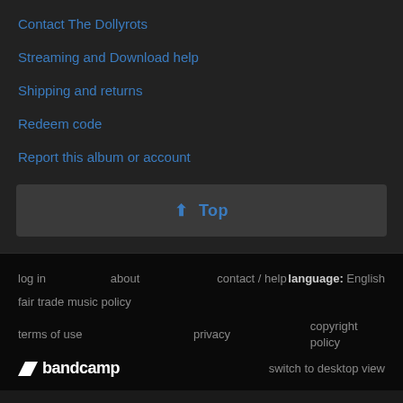Contact The Dollyrots
Streaming and Download help
Shipping and returns
Redeem code
Report this album or account
↑ Top
log in   about   contact / help   language: English   fair trade music policy   terms of use   privacy   copyright policy   bandcamp   switch to desktop view